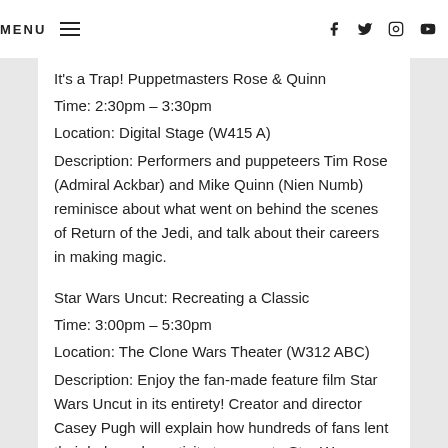MENU
It's a Trap! Puppetmasters Rose & Quinn
Time: 2:30pm – 3:30pm
Location: Digital Stage (W415 A)
Description: Performers and puppeteers Tim Rose (Admiral Ackbar) and Mike Quinn (Nien Numb) reminisce about what went on behind the scenes of Return of the Jedi, and talk about their careers in making magic.
Star Wars Uncut: Recreating a Classic
Time: 3:00pm – 5:30pm
Location: The Clone Wars Theater (W312 ABC)
Description: Enjoy the fan-made feature film Star Wars Uncut in its entirety! Creator and director Casey Pugh will explain how hundreds of fans lent their help and creativity to recreate Star Wars Episode IV: A New Hope in just nine months—a humble project that turned into an Emmy award-winning production!